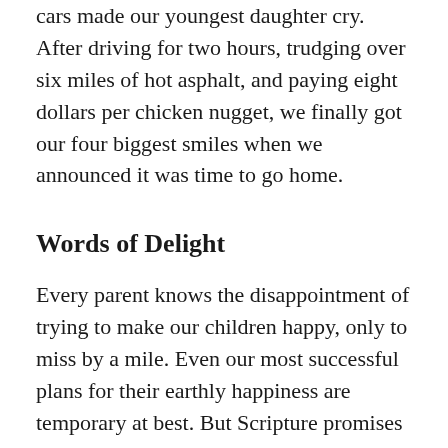people being hauled around mickey tracks in small cars made our youngest daughter cry. After driving for two hours, trudging over six miles of hot asphalt, and paying eight dollars per chicken nugget, we finally got our four biggest smiles when we announced it was time to go home.
Words of Delight
Every parent knows the disappointment of trying to make our children happy, only to miss by a mile. Even our most successful plans for their earthly happiness are temporary at best. But Scripture promises that our children can know lasting happiness, and it tells us how to lead them there.